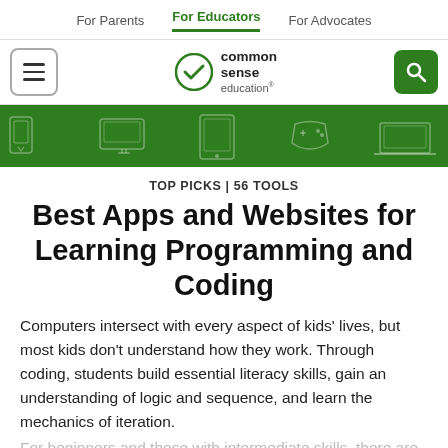For Parents  For Educators  For Advocates
[Figure (logo): Common Sense Education logo with hamburger menu and search button]
[Figure (illustration): Dark green banner with faint white icons of devices and gaming controllers]
TOP PICKS | 56 TOOLS
Best Apps and Websites for Learning Programming and Coding
Computers intersect with every aspect of kids' lives, but most kids don't understand how they work. Through coding, students build essential literacy skills, gain an understanding of logic and sequence, and learn the mechanics of iteration.
For beginners and those with intermediate skills, there are
Continue reading ∨